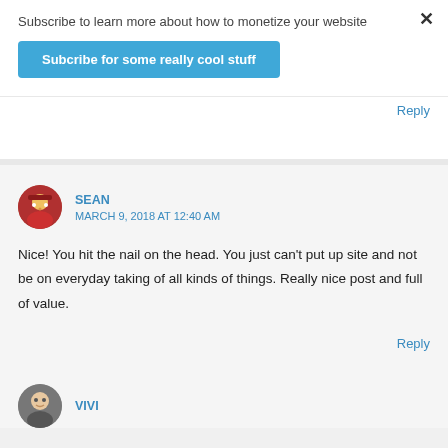Subscribe to learn more about how to monetize your website
×
Subcribe for some really cool stuff
Reply
SEAN
MARCH 9, 2018 AT 12:40 AM
Nice! You hit the nail on the head. You just can't put up site and not be on everyday taking of all kinds of things. Really nice post and full of value.
Reply
VIVI